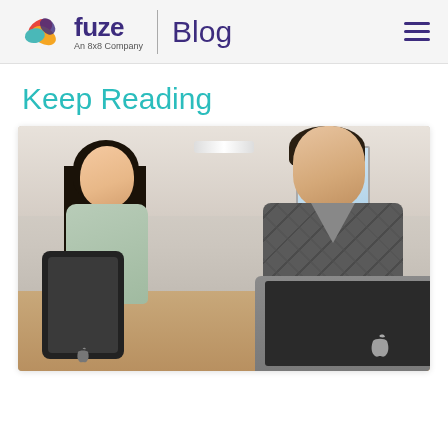fuze Blog — An 8x8 Company
Keep Reading
[Figure (photo): Two office workers — a young Asian woman holding a tablet and a man in an argyle sweater using a laptop — collaborating at a desk]